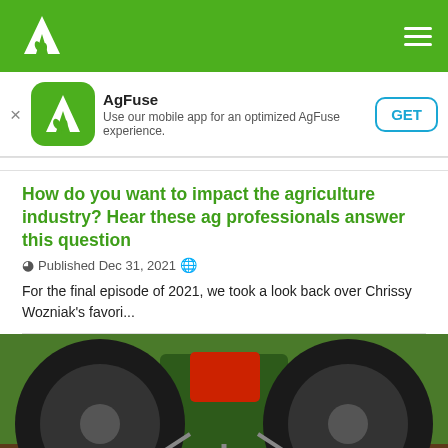AgFuse navigation bar with logo and hamburger menu
[Figure (screenshot): App download banner: AgFuse app icon (green rounded square with white leaf logo), app name 'AgFuse', description 'Use our mobile app for an optimized AgFuse experience.', and a GET button]
How do you want to impact the agriculture industry? Hear these ag professionals answer this question
Published Dec 31, 2021
For the final episode of 2021, we took a look back over Chrissy Wozniak's favori...
[Figure (photo): Close-up photo of a tractor with yellow agricultural tillage equipment (field cultivator with spring tines) in front of large tractor tires, viewed from the front.]